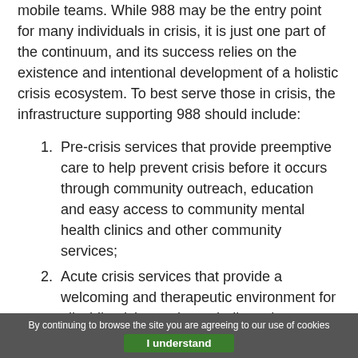mobile teams. While 988 may be the entry point for many individuals in crisis, it is just one part of the continuum, and its success relies on the existence and intentional development of a holistic crisis ecosystem. To best serve those in crisis, the infrastructure supporting 988 should include:
1. Pre-crisis services that provide preemptive care to help prevent crisis before it occurs through community outreach, education and easy access to community mental health clinics and other community services;
2. Acute crisis services that provide a welcoming and therapeutic environment for all while giving patients dedicated, person-centered treatment from a provider and intentionally trained staff;
By continuing to browse the site you are agreeing to our use of cookies